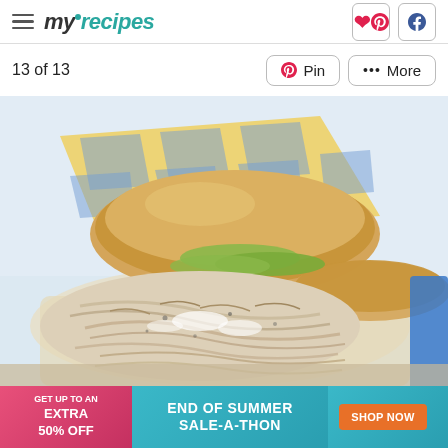myrecipes
13 of 13
[Figure (photo): A pulled chicken sandwich on a white bun with pickles and white sauce, served on parchment paper with a yellow and blue checkered napkin in the background. Food photography for myrecipes.com.]
GET UP TO AN EXTRA 50% OFF — END OF SUMMER SALE-A-THON — SHOP NOW